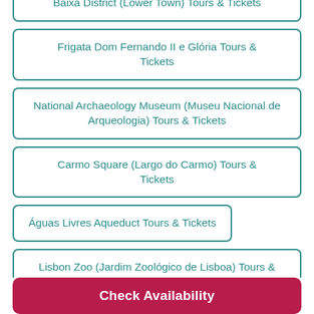Baixa District (Lower Town) Tours & Tickets
Frigata Dom Fernando II e Glória Tours & Tickets
National Archaeology Museum (Museu Nacional de Arqueologia) Tours & Tickets
Carmo Square (Largo do Carmo) Tours & Tickets
Águas Livres Aqueduct Tours & Tickets
Lisbon Zoo (Jardim Zoológico de Lisboa) Tours & Tickets
Check Availability